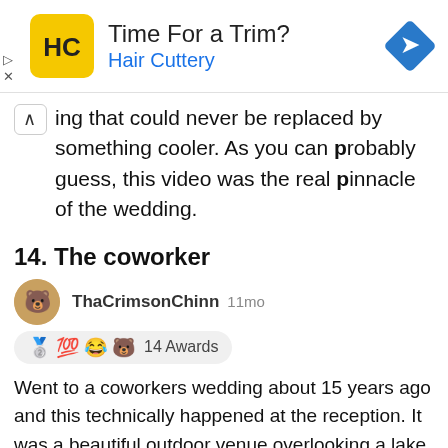[Figure (illustration): Hair Cuttery advertisement banner with yellow HC logo, 'Time For a Trim?' heading, 'Hair Cuttery' in blue, and a blue diamond direction arrow icon on the right]
ing that could never be replaced by something cooler. As you can probably guess, this video was the real pinnacle of the wedding.
14. The coworker
ThaCrimsonChinn 11mo
14 Awards
Went to a coworkers wedding about 15 years ago and this technically happened at the reception. It was a beautiful outdoor venue overlooking a lake. Anyways, the groom had planned to sing a song to his new wife and have fireworks launch as he was singing the last note. Well that last note came but the fireworks did not. He held that last note for a good 10 seconds before he finally yelled "MOTHERFUCKERS!!" threw the mic down and ran